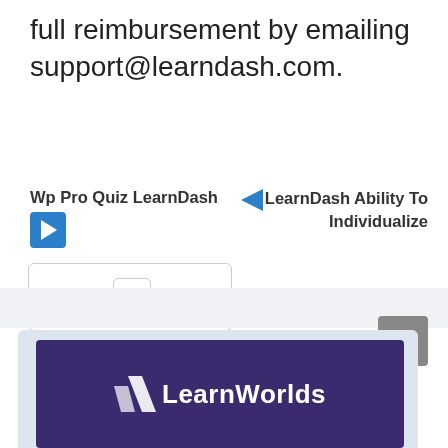full reimbursement by emailing support@learndash.com.
Wp Pro Quiz LearnDash
LearnDash Ability To Individualize
[Figure (screenshot): Contents navigation widget with play button and table of contents icon]
[Figure (logo): LearnWorlds logo on dark purple background]